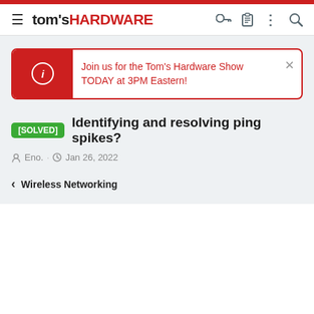tom's HARDWARE
Join us for the Tom's Hardware Show TODAY at 3PM Eastern!
[SOLVED] Identifying and resolving ping spikes?
Eno. · Jan 26, 2022
< Wireless Networking